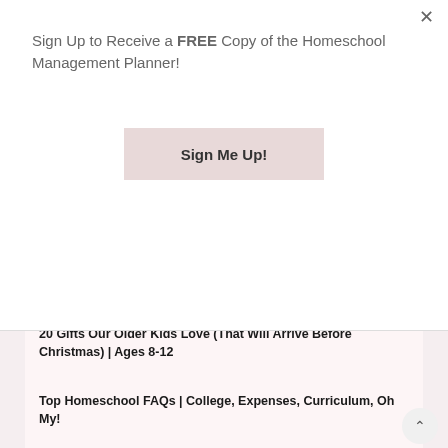Sign Up to Receive a FREE Copy of the Homeschool Management Planner!
Sign Me Up!
20 Gifts Our Older Kids Love (That Will Arrive Before Christmas) | Ages 8-12
Top Homeschool FAQs | College, Expenses, Curriculum, Oh My!
Want to Homeschool? 3 Things It Takes That Noone Mentions